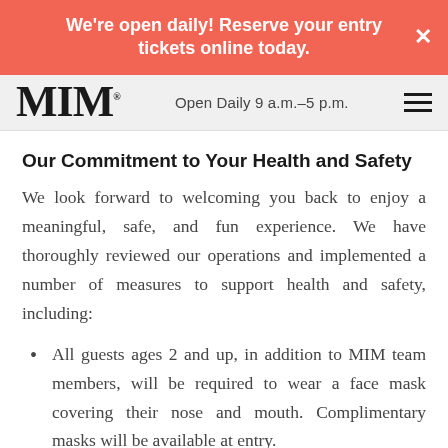We're open daily! Reserve your entry tickets online today.
MIM  Open Daily 9 a.m.–5 p.m.
Our Commitment to Your Health and Safety
We look forward to welcoming you back to enjoy a meaningful, safe, and fun experience. We have thoroughly reviewed our operations and implemented a number of measures to support health and safety, including:
All guests ages 2 and up, in addition to MIM team members, will be required to wear a face mask covering their nose and mouth. Complimentary masks will be available at entry.